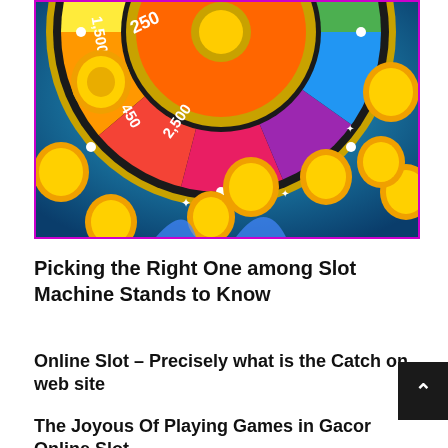[Figure (illustration): A colorful casino prize wheel (spin wheel) with segments showing values 250, 2500, 1500, 450, 3000, 400 and other segments, surrounded by falling gold coins on a blue background. The wheel has bright colors: green, yellow, red, pink/magenta, purple, and green segments. There are gold coin decorations scattered around.]
Picking the Right One among Slot Machine Stands to Know
Online Slot – Precisely what is the Catch on web site
The Joyous Of Playing Games in Gacor Online Slot